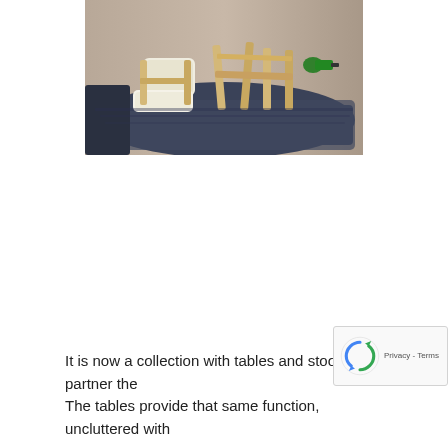[Figure (photo): Photo of wooden furniture pieces (chairs/stools with light wood frames and beige cushioned seats) arranged on a dark blue moving blanket or padding on the floor, with a power drill visible in the background.]
It is now a collection with tables and stools to partner the
The tables provide that same function, uncluttered with